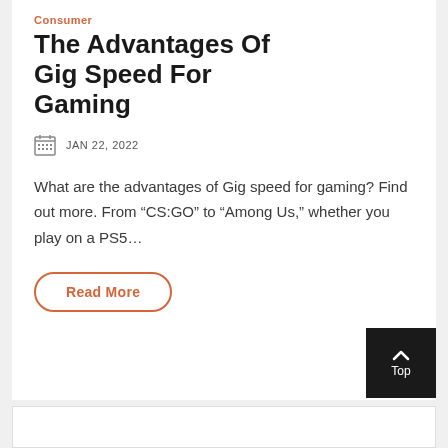Consumer
The Advantages Of Gig Speed For Gaming
JAN 22, 2022
What are the advantages of Gig speed for gaming? Find out more. From “CS:GO” to “Among Us,” whether you play on a PS5…
Read More